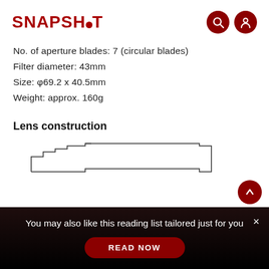SNAPSHOT
No. of aperture blades: 7 (circular blades)
Filter diameter: 43mm
Size: φ69.2 x 40.5mm
Weight: approx. 160g
Lens construction
[Figure (engineering-diagram): Partial outline/cross-section diagram of a camera lens construction showing the stepped profile of lens elements]
You may also like this reading list tailored just for you
READ NOW